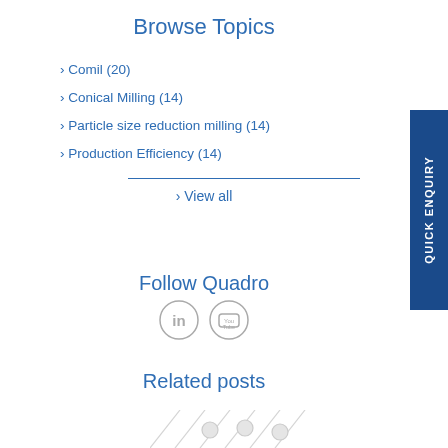Browse Topics
› Comil (20)
› Conical Milling (14)
› Particle size reduction milling (14)
› Production Efficiency (14)
› View all
Follow Quadro
[Figure (logo): LinkedIn and YouTube social media icons]
Related posts
[Figure (photo): Partial image of mechanical parts/screws at the bottom of the page]